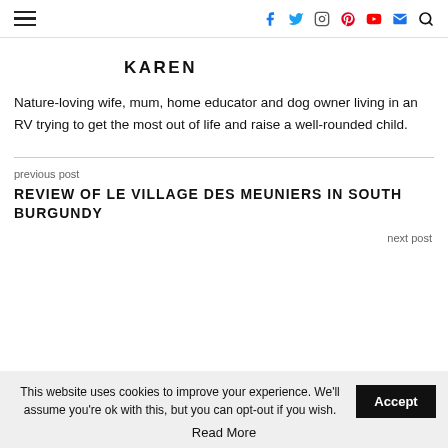Navigation header with hamburger menu and social icons (Facebook, Twitter, Instagram, Pinterest, YouTube, Email, Search)
KAREN
Nature-loving wife, mum, home educator and dog owner living in an RV trying to get the most out of life and raise a well-rounded child.
previous post
REVIEW OF LE VILLAGE DES MEUNIERS IN SOUTH BURGUNDY
next post
This website uses cookies to improve your experience. We'll assume you're ok with this, but you can opt-out if you wish.
Read More